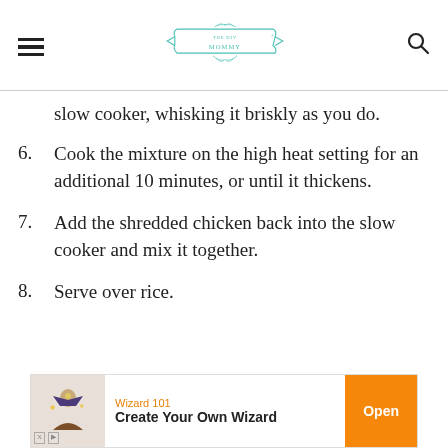THE DIY MOMMY
slow cooker, whisking it briskly as you do.
6. Cook the mixture on the high heat setting for an additional 10 minutes, or until it thickens.
7. Add the shredded chicken back into the slow cooker and mix it together.
8. Serve over rice.
[Figure (other): Advertisement banner for Wizard 101 game with orange Open button]